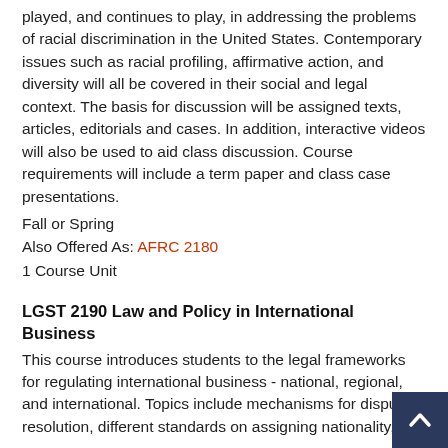played, and continues to play, in addressing the problems of racial discrimination in the United States. Contemporary issues such as racial profiling, affirmative action, and diversity will all be covered in their social and legal context. The basis for discussion will be assigned texts, articles, editorials and cases. In addition, interactive videos will also be used to aid class discussion. Course requirements will include a term paper and class case presentations.
Fall or Spring
Also Offered As: AFRC 2180
1 Course Unit
LGST 2190 Law and Policy in International Business
This course introduces students to the legal frameworks for regulating international business - national, regional, and international. Topics include mechanisms for dispute resolution, different standards on assigning nationality,